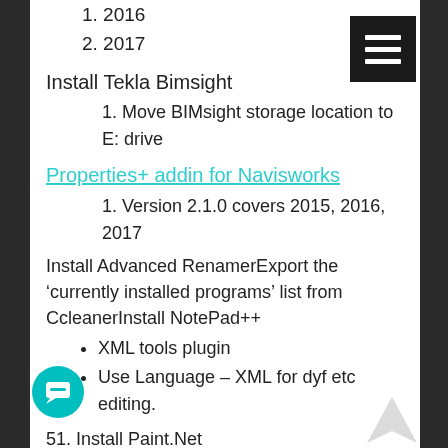1. 2016
2. 2017
Install Tekla Bimsight
1. Move BIMsight storage location to E: drive
Properties+ addin for Navisworks
1. Version 2.1.0 covers 2015, 2016, 2017
Install Advanced RenamerExport the 'currently installed programs' list from CcleanerInstall NotePad++
XML tools plugin
Use Language – XML for dyf etc editing.
51. Install Paint.Net